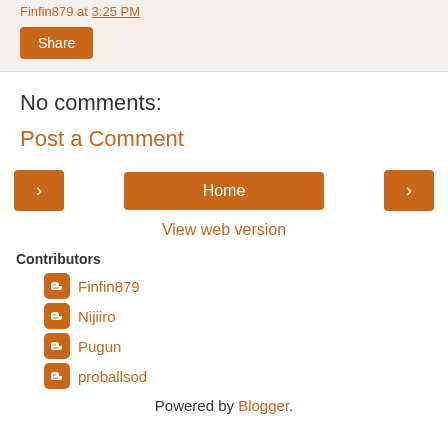Finfin879 at 3:25 PM
Share
No comments:
Post a Comment
< Home >
View web version
Contributors
Finfin879
Nijiiro
Pugun
proballsod
Powered by Blogger.